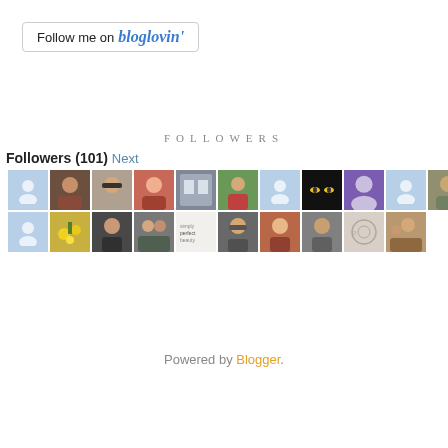[Figure (screenshot): Follow me on bloglovin' button with border]
FOLLOWERS
Followers (101) Next
[Figure (infographic): Grid of 21 follower avatar thumbnails in two rows]
Powered by Blogger.